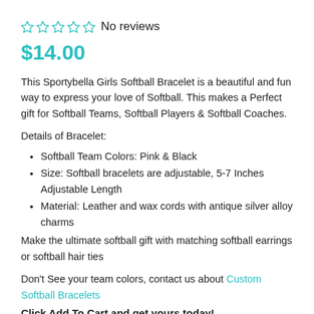☆ ☆ ☆ ☆ ☆ No reviews
$14.00
This Sportybella Girls Softball Bracelet is a beautiful and fun way to express your love of Softball. This makes a Perfect gift for Softball Teams, Softball Players & Softball Coaches.
Details of Bracelet:
Softball Team Colors: Pink & Black
Size: Softball bracelets are adjustable, 5-7 Inches Adjustable Length
Material: Leather and wax cords with antique silver alloy charms
Make the ultimate softball gift with matching softball earrings or softball hair ties
Don't See your team colors, contact us about Custom Softball Bracelets
Click Add To Cart and get yours today!